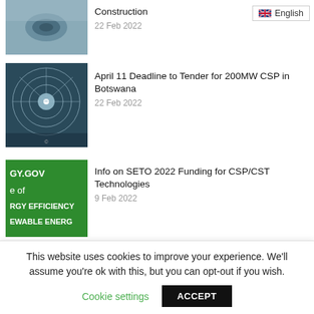English
[Figure (photo): Aerial view of solar installation or landscape with circular water features]
Construction
22 Feb 2022
[Figure (photo): Aerial view of a concentrated solar power tower plant with heliostats]
April 11 Deadline to Tender for 200MW CSP in Botswana
22 Feb 2022
[Figure (photo): Green banner with text: GY.GOV, e of, RGY EFFICIENCY, EWABLE ENERG]
Info on SETO 2022 Funding for CSP/CST Technologies
9 Feb 2022
[Figure (photo): Photo of solar collectors in a field with equipment and blue sky]
NREL Starts SETO-Funded Study of Wind Impacts on Solar Collectors
12 Jan 2022
[Figure (photo): Partially visible photo, light gray tones]
Vast Solar Consortium Patents
This website uses cookies to improve your experience. We'll assume you're ok with this, but you can opt-out if you wish.
Cookie settings  ACCEPT